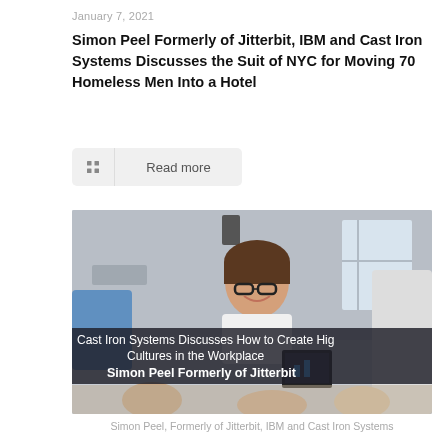January 7, 2021
Simon Peel Formerly of Jitterbit, IBM and Cast Iron Systems Discusses the Suit of NYC for Moving 70 Homeless Men Into a Hotel
Read more
[Figure (photo): Office photo showing a smiling man with glasses laughing, with a dark overlay banner reading: Cast Iron Systems Discusses How to Create Hig Cultures in the Workplace Simon Peel Formerly of Jitterbit]
Simon Peel, Formerly of Jitterbit, IBM and Cast Iron Systems